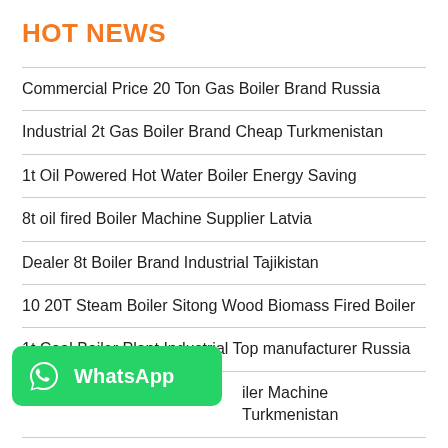HOT NEWS
Commercial Price 20 Ton Gas Boiler Brand Russia
Industrial 2t Gas Boiler Brand Cheap Turkmenistan
1t Oil Powered Hot Water Boiler Energy Saving
8t oil fired Boiler Machine Supplier Latvia
Dealer 8t Boiler Brand Industrial Tajikistan
10 20T Steam Boiler Sitong Wood Biomass Fired Boiler
1t Coal Boiler Plant Industrial Top manufacturer Russia
...iler Machine Turkmenistan
Dealer 20 Ton Diesel Boiler Azerbaijan
[Figure (logo): WhatsApp logo button with green background, phone icon and WhatsApp text]